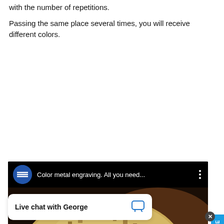with the number of repetitions.
Passing the same place several times, you will receive different colors.
[Figure (screenshot): YouTube video thumbnail showing 'Color metal engraving. All you need...' with a metal disc being held, displaying engraved colored squares and patterns. A play button is visible in the center. There is a blue 'GET A QUOTE' sidebar on the right and a live chat bar at the bottom showing 'Live chat with George'.]